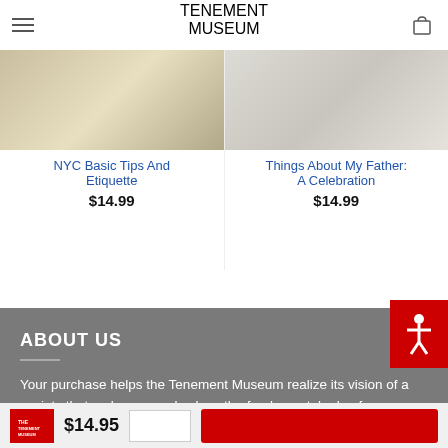[Figure (logo): Tenement Museum logo with red bold text]
[Figure (screenshot): Product card left: NYC Basic Tips And Etiquette, $14.99]
NYC Basic Tips And Etiquette
$14.99
[Figure (screenshot): Product card right: Things About My Father: A Celebration, $14.99]
Things About My Father: A Celebration
$14.99
ABOUT US
Your purchase helps the Tenement Museum realize its vision of a society that embraces and values the fundamental role of immigration in the evolving American identity.
Find Us on Social Media:
CUSTOMER SERVICE
$14.95